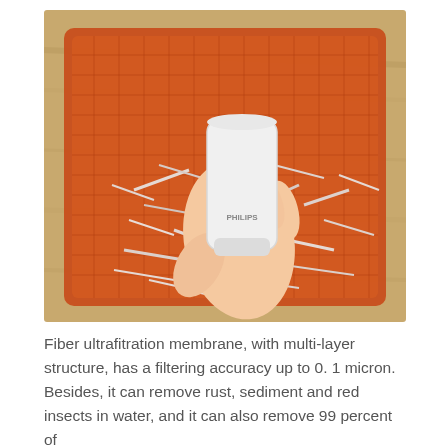[Figure (photo): A hand holding a white cylindrical Philips water filter cartridge, set inside a red mesh basket/tray filled with shredded paper, placed on a wooden surface.]
Fiber ultrafitration membrane, with multi-layer structure, has a filtering accuracy up to 0. 1 micron. Besides, it can remove rust, sediment and red insects in water, and it can also remove 99 percent of